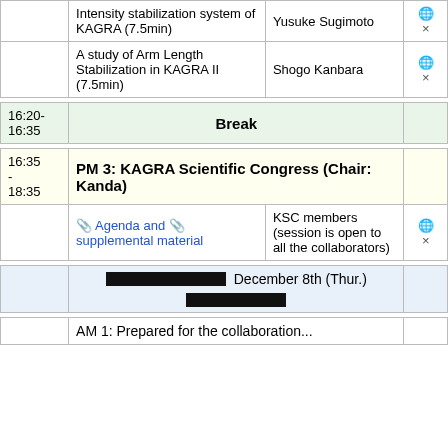| Time | Title | Speaker |  |
| --- | --- | --- | --- |
|  | Intensity stabilization system of KAGRA (7.5min) | Yusuke Sugimoto | 🌐 × |
|  | A study of Arm Length Stabilization in KAGRA II (7.5min) | Shogo Kanbara | 🌐 × |
| 16:20-16:35 | Break |  |  |
| 16:35 - 18:35 | PM 3: KAGRA Scientific Congress (Chair: Kanda) |  |  |
|  | 📎 Agenda and 📎 supplemental material | KSC members (session is open to all the collaborators) | 🌐 × |
|  | December 8th (Thur.) ████████████████████████ ███████████████████ |  |  |
|  | AM 1: Prepared for the collaboration... |  |  |